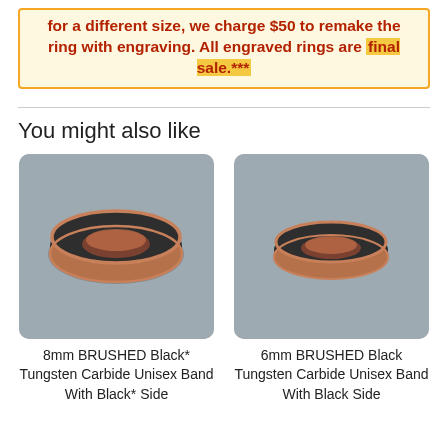for a different size, we charge $50 to remake the ring with engraving. All engraved rings are final sale.***
You might also like
[Figure (photo): 8mm brushed black tungsten carbide ring with rose gold interior and side stripe, on gray background]
8mm BRUSHED Black* Tungsten Carbide Unisex Band With Black* Side
[Figure (photo): 6mm brushed black tungsten carbide ring with rose gold interior and side stripe, on gray background]
6mm BRUSHED Black Tungsten Carbide Unisex Band With Black Side